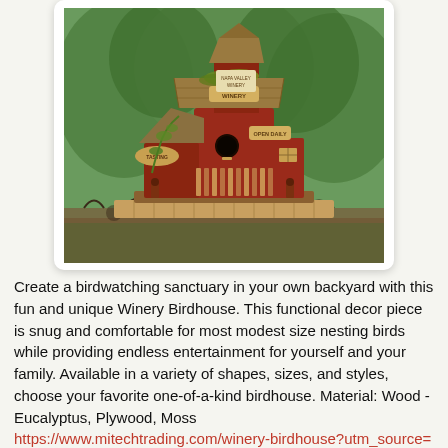[Figure (photo): A decorative wooden Winery Birdhouse sitting on an ornate metal railing with green trees in the background. The birdhouse is red with a tile roof, multiple entry holes, small signs reading 'OPEN DAILY' and what appears to be 'TASTING', and a tower on top.]
Create a birdwatching sanctuary in your own backyard with this fun and unique Winery Birdhouse. This functional decor piece is snug and comfortable for most modest size nesting birds while providing endless entertainment for yourself and your family. Available in a variety of shapes, sizes, and styles, choose your favorite one-of-a-kind birdhouse. Material: Wood - Eucalyptus, Plywood, Moss https://www.mitechtrading.com/winery-birdhouse?utm_source=dlvr.it&utm_medium=blogger